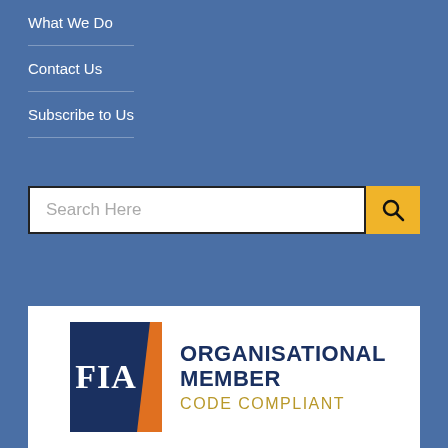What We Do
Contact Us
Subscribe to Us
Search Here
[Figure (logo): FIA Organisational Member Code Compliant logo — dark blue parallelogram shape with white FIA text, orange accent stripe, next to text reading ORGANISATIONAL MEMBER in dark blue and CODE COMPLIANT in gold]